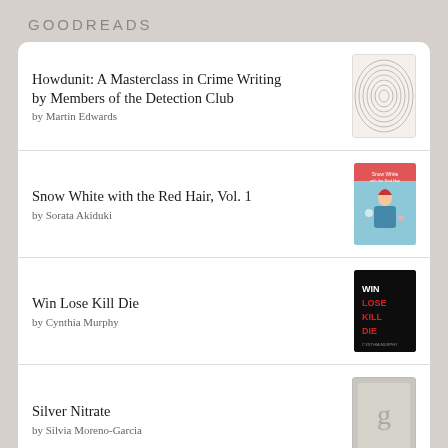GOODREADS
Howdunit: A Masterclass in Crime Writing by Members of the Detection Club by Martin Edwards
Snow White with the Red Hair, Vol. 1 by Sorata Akiduki
Win Lose Kill Die by Cynthia Murphy
Silver Nitrate by Silvia Moreno-Garcia
It's Behind You by Kathryn Foxfield